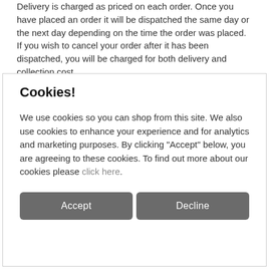Delivery is charged as priced on each order. Once you have placed an order it will be dispatched the same day or the next day depending on the time the order was placed. If you wish to cancel your order after it has been dispatched, you will be charged for both delivery and collection cost.
Cookies!
We use cookies so you can shop from this site. We also use cookies to enhance your experience and for analytics and marketing purposes. By clicking "Accept" below, you are agreeing to these cookies. To find out more about our cookies please click here.